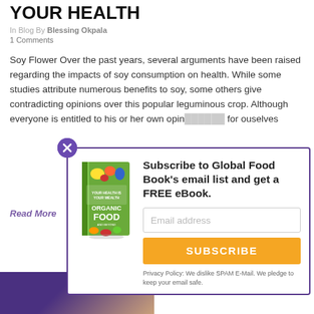YOUR HEALTH
In Blog By Blessing Okpala
1 Comments
Soy Flower Over the past years, several arguments have been raised regarding the impacts of soy consumption on health. While some studies attribute numerous benefits to soy, some others give contradicting opinions over this popular leguminous crop. Although everyone is entitled to his or her own opinion, we need to check the facts for ourselves...
Read More
[Figure (screenshot): Email subscription popup overlay with book image, email input field, orange Subscribe button, and privacy note. Shows Global Food Book eBook offer.]
[Figure (photo): Partial photo at bottom of page showing dark purple/brown tones]